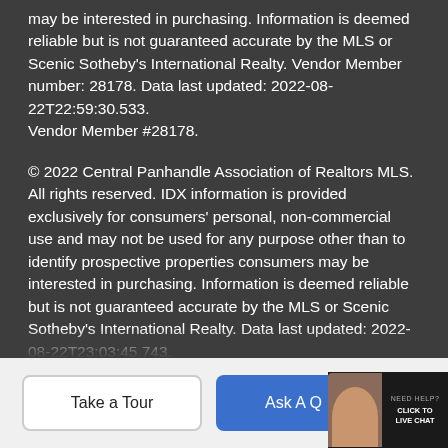may be interested in purchasing. Information is deemed reliable but is not guaranteed accurate by the MLS or Scenic Sotheby's International Realty. Vendor Member number: 28178. Data last updated: 2022-08-22T22:59:30.533.
Vendor Member #28178.
© 2022 Central Panhandle Association of Realtors MLS. All rights reserved. IDX information is provided exclusively for consumers' personal, non-commercial use and may not be used for any purpose other than to identify prospective properties consumers may be interested in purchasing. Information is deemed reliable but is not guaranteed accurate by the MLS or Scenic Sotheby's International Realty. Data last updated: 2022-08-22T23:03:45.743.
© 2022 Realtors Association of Franklin and Gulf Counties. All rights reserved. IDX information is provided exclusively for consumers' personal, non-commercial use and may not be used for any purpose other than to identify prospective properties
Take a Tour
Ask A Q...